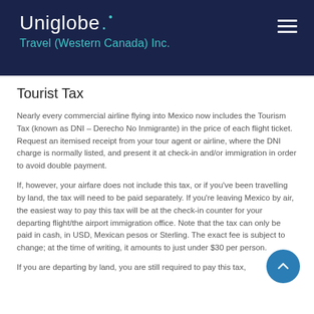[Figure (logo): Uniglobe. Travel (Western Canada) Inc. logo on dark navy background with hamburger menu icon]
Tourist Tax
Nearly every commercial airline flying into Mexico now includes the Tourism Tax (known as DNI – Derecho No Inmigrante) in the price of each flight ticket. Request an itemised receipt from your tour agent or airline, where the DNI charge is normally listed, and present it at check-in and/or immigration in order to avoid double payment.
If, however, your airfare does not include this tax, or if you've been travelling by land, the tax will need to be paid separately. If you're leaving Mexico by air, the easiest way to pay this tax will be at the check-in counter for your departing flight/the airport immigration office. Note that the tax can only be paid in cash, in USD, Mexican pesos or Sterling. The exact fee is subject to change; at the time of writing, it amounts to just under $30 per person.
If you are departing by land, you are still required to pay this tax,